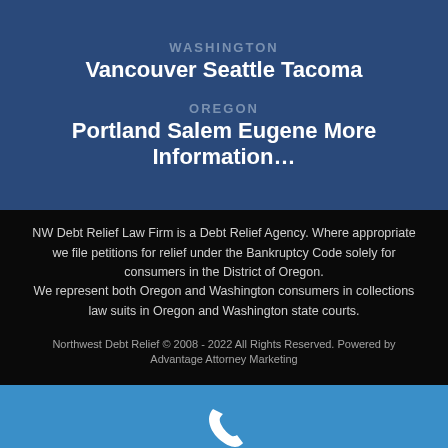WASHINGTON
Vancouver Seattle Tacoma
OREGON
Portland Salem Eugene More Information…
NW Debt Relief Law Firm is a Debt Relief Agency. Where appropriate we file petitions for relief under the Bankruptcy Code solely for consumers in the District of Oregon. We represent both Oregon and Washington consumers in collections law suits in Oregon and Washington state courts.
Northwest Debt Relief © 2008 - 2022 All Rights Reserved. Powered by Advantage Attorney Marketing
Call Now